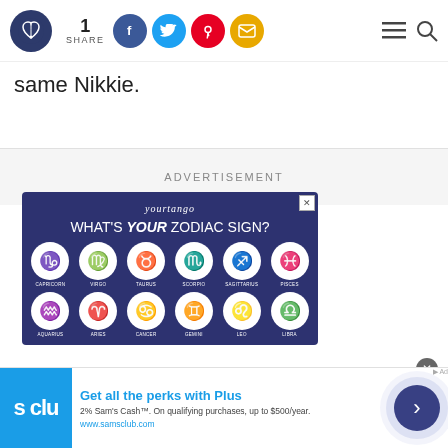1 SHARE [social icons] [menu] [search]
same Nikkie.
ADVERTISEMENT
[Figure (infographic): YourTango advertisement: WHAT'S YOUR ZODIAC SIGN? showing 12 zodiac symbols in white circles on dark navy background: Capricorn, Virgo, Taurus, Scorpio, Sagittarius, Pisces (top row) and Aquarius, Aries, Cancer, Gemini, Leo, Libra (bottom row)]
[Figure (infographic): Sam's Club advertisement: Get all the perks with Plus. 2% Sam's Cash. On qualifying purchases, up to $500/year. www.samsclub.com]